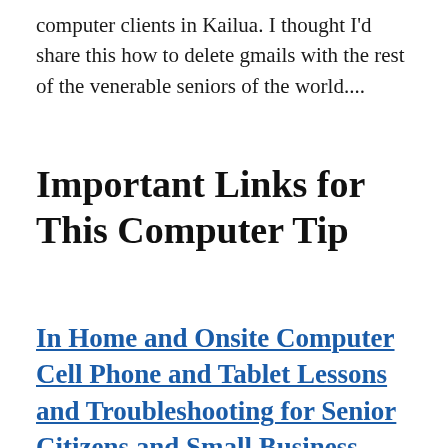computer clients in Kailua. I thought I'd share this how to delete gmails with the rest of the venerable seniors of the world....
Important Links for This Computer Tip
In Home and Onsite Computer Cell Phone and Tablet Lessons and Troubleshooting for Senior Citizens and Small Business Owners Honolulu Hawaii and all